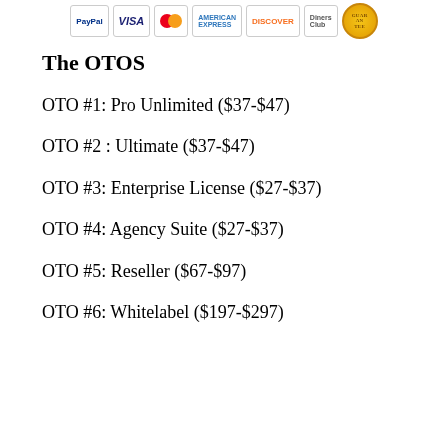[Figure (other): Payment method icons: PayPal, Visa, MasterCard, American Express, Discover, Diners Club, and a gold guarantee badge]
The OTOS
OTO #1: Pro Unlimited ($37-$47)
OTO #2 : Ultimate ($37-$47)
OTO #3: Enterprise License ($27-$37)
OTO #4: Agency Suite ($27-$37)
OTO #5: Reseller ($67-$97)
OTO #6: Whitelabel ($197-$297)